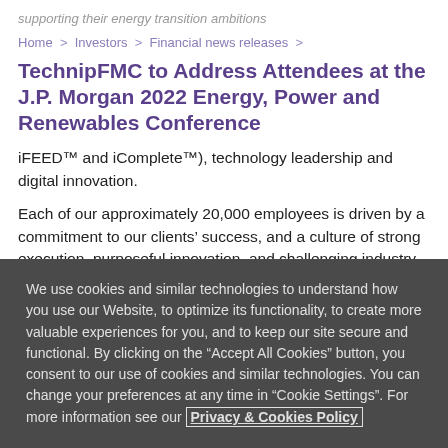supporting their energy transition ambitions
Home > Investors > Financial news releases >
TechnipFMC to Address Attendees at the J.P. Morgan 2022 Energy, Power and Renewables Conference
iFEED™ and iComplete™), technology leadership and digital innovation.
Each of our approximately 20,000 employees is driven by a commitment to our clients' success, and a culture of strong execution, purposeful innovation, and challenging industry
We use cookies and similar technologies to understand how you use our Website, to optimize its functionality, to create more valuable experiences for you, and to keep our site secure and functional. By clicking on the "Accept All Cookies" button, you consent to our use of cookies and similar technologies. You can change your preferences at any time in "Cookie Settings". For more information see our Privacy & Cookies Policy